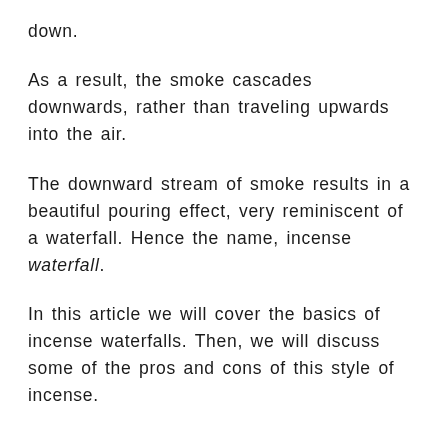down.
As a result, the smoke cascades downwards, rather than traveling upwards into the air.
The downward stream of smoke results in a beautiful pouring effect, very reminiscent of a waterfall. Hence the name, incense waterfall.
In this article we will cover the basics of incense waterfalls. Then, we will discuss some of the pros and cons of this style of incense.